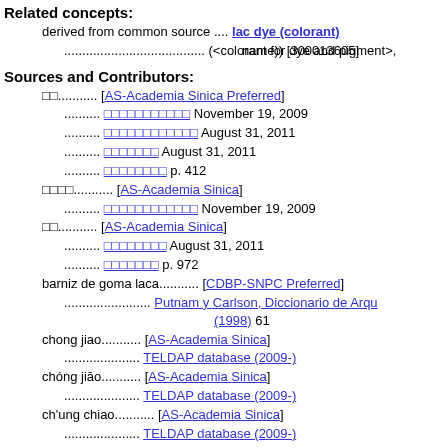Related concepts:
derived from common source .... lac dye (colorant)
....................................... (<colorant for dye and pigment>, name)) [300013605]
Sources and Contributors:
□□........... [AS-Academia Sinica Preferred]
.......... □□□□□□□□□□□ November 19, 2009
.......... □□□□□□□□□□□□ August 31, 2011
.......... □□□□□□□ August 31, 2011
.......... □□□□□□□□ p. 412
□□□□........... [AS-Academia Sinica]
.......... □□□□□□□□□□□□ November 19, 2009
□□........... [AS-Academia Sinica]
.......... □□□□□□□□ August 31, 2011
.......... □□□□□□□ p. 972
barniz de goma laca........... [CDBP-SNPC Preferred]
........................ Putnam y Carlson, Diccionario de Arqu (1998) 61
chong jiao........... [AS-Academia Sinica]
..................... TELDAP database (2009-)
chóng jiāo........... [AS-Academia Sinica]
..................... TELDAP database (2009-)
ch'ung chiao........... [AS-Academia Sinica]
..................... TELDAP database (2009-)
gomme laque (shellac)........... [CHIN / RCIP Preferred, VP]
..................... CHIN database (1988-)